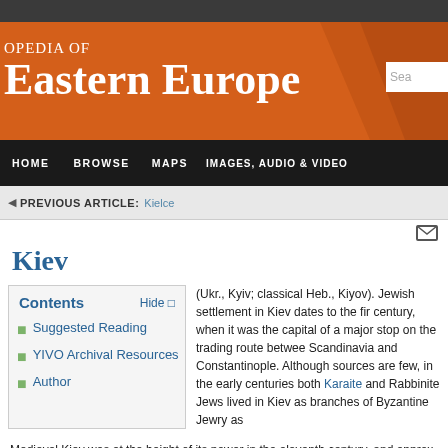OPEDIA OF Eastern Europe
HOME  BROWSE  MAPS  IMAGES, AUDIO & VIDEO
PREVIOUS ARTICLE: Kielce
Kiev
Suggested Reading
YIVO Archival Resources
Author
(Ukr., Kyiv; classical Heb., Kiyov). Jewish settlement in Kiev dates to the first century, when it was the capital of a major stop on the trading route between Scandinavia and Constantinople. Although sources are few, in the early centuries both Karaite and Rabbinite Jews lived in Kiev as branches of Byzantine Jewry as
Medieval Kiev was at the height of its power in the eleventh century, and approx mention of both a “Jewish gate” within its walls as well as a Talmudic scholar kno Grand Duchy of Lithuania conquered the region from the Mongols in the fifteenth